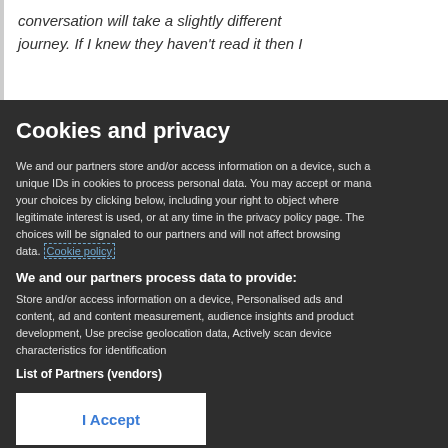conversation will take a slightly different journey. If I knew they haven't read it then I
Cookies and privacy
We and our partners store and/or access information on a device, such as unique IDs in cookies to process personal data. You may accept or manage your choices by clicking below, including your right to object where legitimate interest is used, or at any time in the privacy policy page. These choices will be signaled to our partners and will not affect browsing data. Cookie policy
We and our partners process data to provide:
Store and/or access information on a device, Personalised ads and content, ad and content measurement, audience insights and product development, Use precise geolocation data, Actively scan device characteristics for identification
List of Partners (vendors)
I Accept